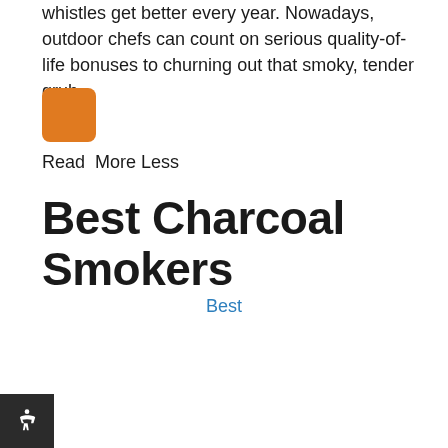whistles get better every year. Nowadays, outdoor chefs can count on serious quality-of-life bonuses to churning out that smoky, tender grub.
[Figure (other): Orange square/button icon]
Read  More Less
Best Charcoal Smokers
Best